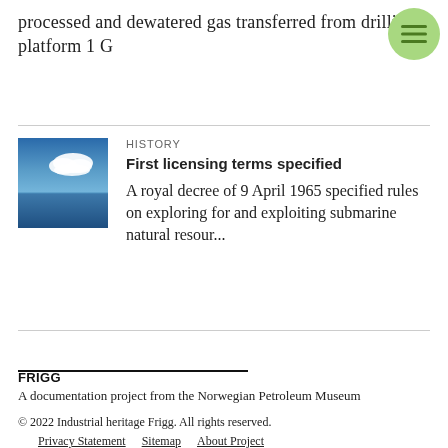processed and dewatered gas transferred from drilling platform 1 G
HISTORY
First licensing terms specified
A royal decree of 9 April 1965 specified rules on exploring for and exploiting submarine natural resour...
[Figure (photo): Photo of ocean horizon with cloud in blue sky]
FRIGG
A documentation project from the Norwegian Petroleum Museum

© 2022 Industrial heritage Frigg. All rights reserved.
Privacy Statement   Sitemap   About Project

Data last synchronized 27.11.2020 12:08